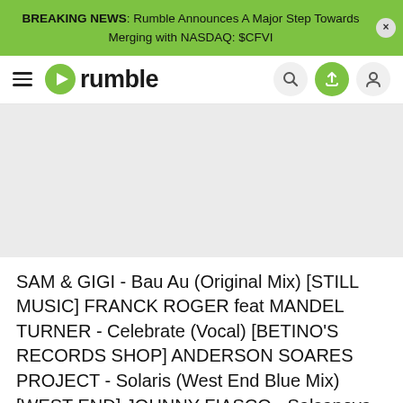BREAKING NEWS: Rumble Announces A Major Step Towards Merging with NASDAQ: $CFVI
[Figure (screenshot): Rumble website navigation bar with hamburger menu, Rumble logo, search icon, upload icon, and user icon]
[Figure (photo): Video player area placeholder, light gray background]
SAM & GIGI - Bau Au (Original Mix) [STILL MUSIC] FRANCK ROGER feat MANDEL TURNER - Celebrate (Vocal) [BETINO'S RECORDS SHOP] ANDERSON SOARES PROJECT - Solaris (West End Blue Mix) [WEST END] JOHNNY FIASCO - Salsanova (Original) [AGAVE]